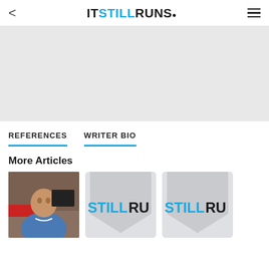IT STILL RUNS.
[Figure (photo): Gray placeholder image / advertisement area]
REFERENCES
WRITER BIO
More Articles
[Figure (photo): Photo of a mechanic/technician in a blue shirt smiling at camera]
[Figure (logo): ItStillRuns logo card placeholder 1 - STILLRU]
[Figure (logo): ItStillRuns logo card placeholder 2 - STILLRU]